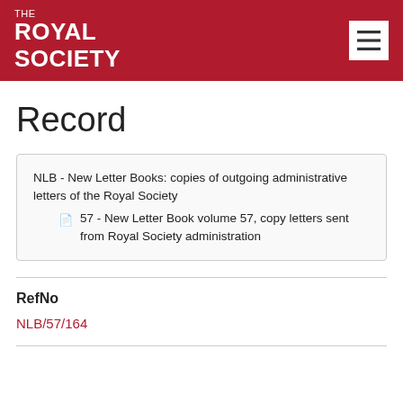THE ROYAL SOCIETY
Record
NLB - New Letter Books: copies of outgoing administrative letters of the Royal Society
57 - New Letter Book volume 57, copy letters sent from Royal Society administration
RefNo
NLB/57/164